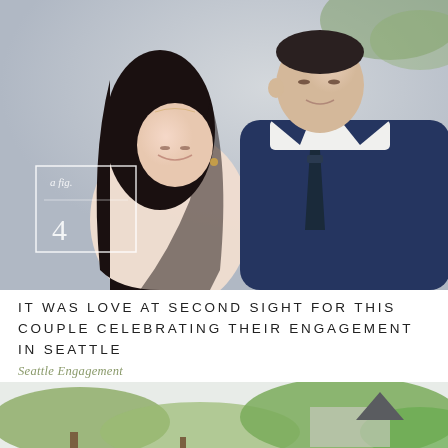[Figure (photo): Couple in an intimate close pose, woman in blush/white spaghetti-strap dress with long dark hair, man in navy blue suit with floral tie, foreheads nearly touching, eyes closed, romantic engagement photo]
IT WAS LOVE AT SECOND SIGHT FOR THIS COUPLE CELEBRATING THEIR ENGAGEMENT IN SEATTLE
Seattle Engagement
[Figure (photo): Outdoor scene with tropical and native trees, green foliage, partial view of a building, partially visible upward-pointing arrow/chevron icon overlay]